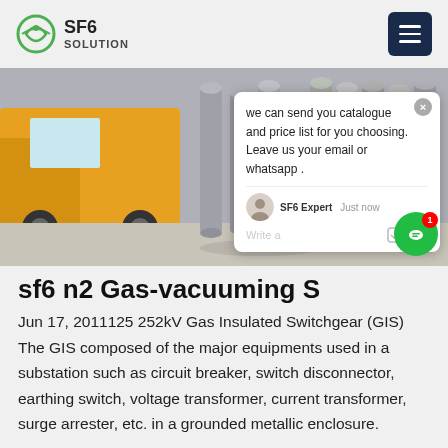SF6 SOLUTION
[Figure (photo): Photo of gray SF6 gas cylinders standing upright outdoors, with a yellow truck in the background on a concrete surface.]
we can send you catalogue and price list for you choosing. Leave us your email or whatsapp .
sf6 n2 Gas-vacuuming S
Jun 17, 2011125 252kV Gas Insulated Switchgear (GIS) The GIS composed of the major equipments used in a substation such as circuit breaker, switch disconnector, earthing switch, voltage transformer, current transformer, surge arrester, etc. in a grounded metallic enclosure.